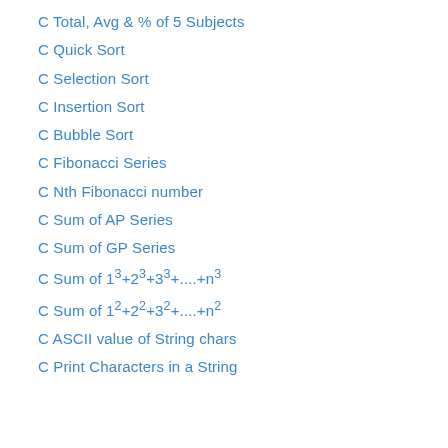C Total, Avg & % of 5 Subjects
C Quick Sort
C Selection Sort
C Insertion Sort
C Bubble Sort
C Fibonacci Series
C Nth Fibonacci number
C Sum of AP Series
C Sum of GP Series
C Sum of 1³+2³+3³+....+n³
C Sum of 1²+2²+3²+....+n²
C ASCII value of String chars
C Print Characters in a String